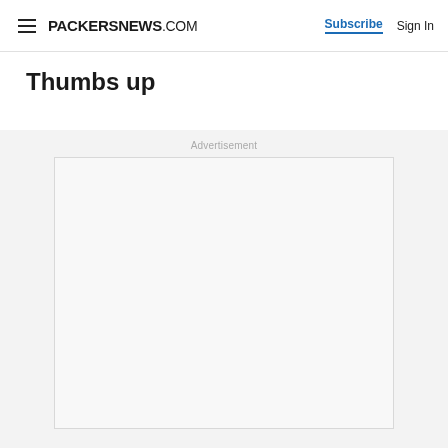PACKERSNEWS.com  Subscribe  Sign In
Thumbs up
Advertisement
[Figure (other): Empty advertisement placeholder box with light border on gray background]